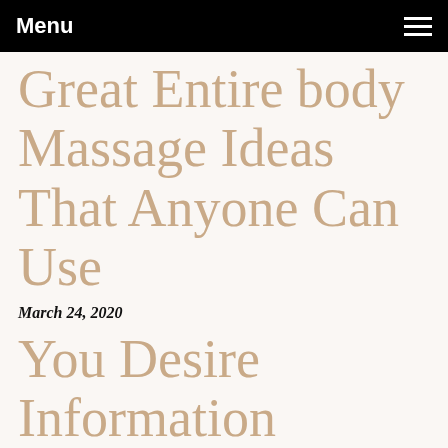Menu
Great Entire body Massage Ideas That Anyone Can Use
March 24, 2020
You Desire Information Regarding Massages? Seem On this page!